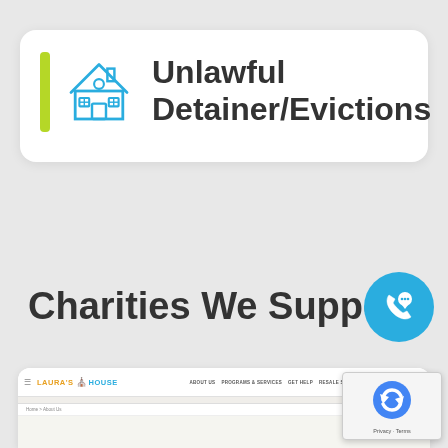Unlawful Detainer/Evictions
Charities We Support
[Figure (screenshot): Screenshot of Laura's House website with navigation bar showing About Us, Programs & Services, Get Help, Resale Stores, Get Involved, Donate links]
[Figure (other): reCAPTCHA widget showing Privacy - Terms]